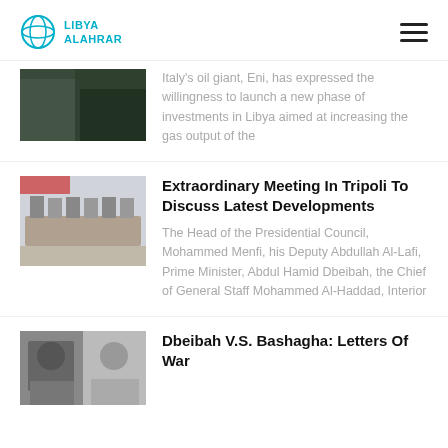Libya Alahrar
Italy's oil giant, Eni, has expressed the willingness to launch a new phase of investments in Libya aimed at increasing the gas output of the
Extraordinary Meeting In Tripoli To Discuss Latest Developments
The Head of the Presidential Council, Mohammed Menfi, his Deputy Abdullah Al-Lafi, Prime Minister, Abdul Hamid Dbeibah, the Chief of General Staff Mohammed Al-Haddad, Interior
Dbeibah V.S. Bashagha: Letters Of War